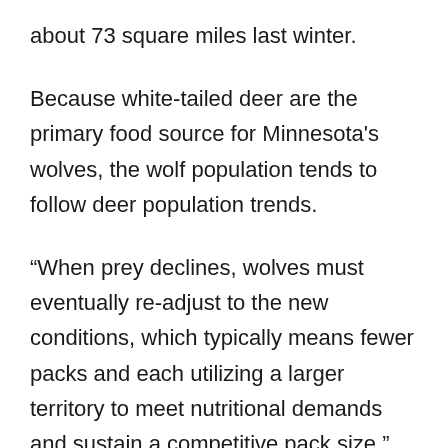about 73 square miles last winter.
Because white-tailed deer are the primary food source for Minnesota's wolves, the wolf population tends to follow deer population trends.
“When prey declines, wolves must eventually re-adjust to the new conditions, which typically means fewer packs and each utilizing a larger territory to meet nutritional demands and sustain a competitive pack size,” according to John Erb, DNR wolf research scientist.
These wolf population parameters are similar to those estimated during the winter survey of 1997-1998, which,